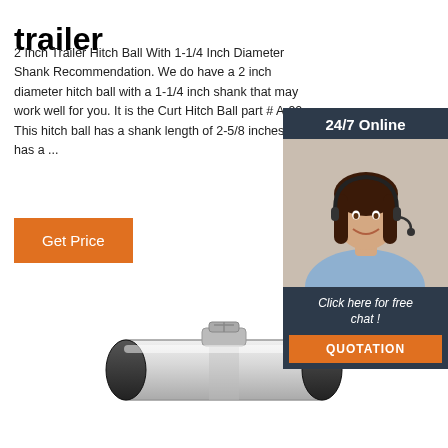trailer
2 Inch Trailer Hitch Ball With 1-1/4 Inch Diameter Shank Recommendation. We do have a 2 inch diameter hitch ball with a 1-1/4 inch shank that may work well for you. It is the Curt Hitch Ball part # A-90. This hitch ball has a shank length of 2-5/8 inches and has a ...
[Figure (photo): Customer service representative with headset, 24/7 Online chat widget with QUOTATION button]
[Figure (photo): Metal trailer hitch ball component, chrome/silver colored]
Get Price
24/7 Online
Click here for free chat !
QUOTATION